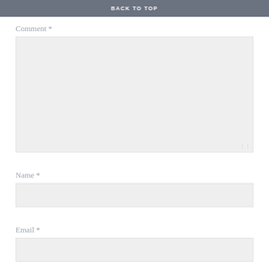BACK TO TOP
Comment *
[Figure (screenshot): Large comment textarea input field with light gray background]
Name *
[Figure (screenshot): Single-line name text input field with light gray background]
Email *
[Figure (screenshot): Single-line email text input field with light gray background]